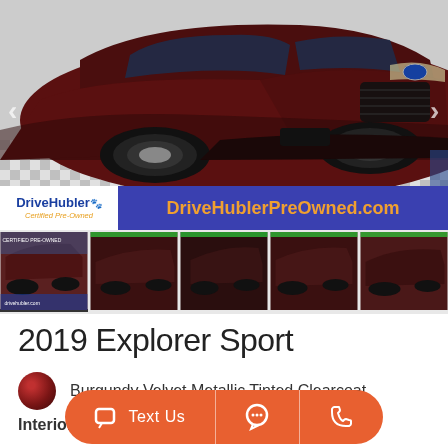[Figure (photo): 2019 Ford Explorer Sport in Burgundy Velvet Metallic color, front 3/4 view, with black wheels, displayed in a dealership setting with a DriveHubler Certified Pre-Owned banner overlay]
[Figure (photo): Row of 5 thumbnail images of the same 2019 Ford Explorer Sport from multiple angles]
2019 Explorer Sport
Burgundy Velvet Metallic Tinted Clearcoat
Interior: Ebony Black
[Figure (infographic): Orange chat bar with phone icon, Text Us label, chat bubble icon, and phone icon]